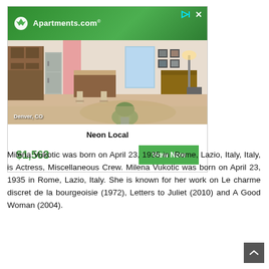[Figure (advertisement): Apartments.com advertisement banner showing a Denver, CO apartment listing for Neon Local priced at $1,563 with a View Now button and photo of a modern apartment interior]
Milena Vukotic was born on April 23, 1935 in Rome, Lazio, Italy, Italy, is Actress, Miscellaneous Crew. Milena Vukotic was born on April 23, 1935 in Rome, Lazio, Italy. She is known for her work on Le charme discret de la bourgeoisie (1972), Letters to Juliet (2010) and A Good Woman (2004).